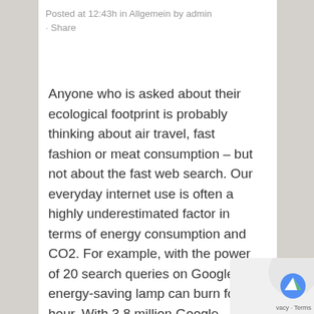Posted at 12:43h in Allgemein by admin · Share
Anyone who is asked about their ecological footprint is probably thinking about air travel, fast fashion or meat consumption – but not about the fast web search. Our everyday internet use is often a highly underestimated factor in terms of energy consumption and CO2. For example, with the power of 20 search queries on Google an energy-saving lamp can burn for an hour. With 3.8 million Google requests the minute and 4 billion worldwide Internet users will therefore quickly realize the serious importance of the energy consumption of the IT sector in the current climate change debate. [1]